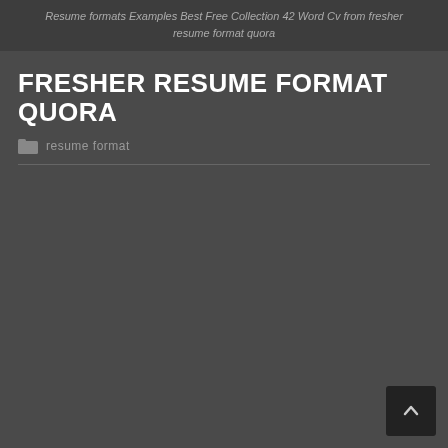Resume formats Examples Best Free Collection 42 Word Cv from fresher resume format quora
FRESHER RESUME FORMAT QUORA
resume format